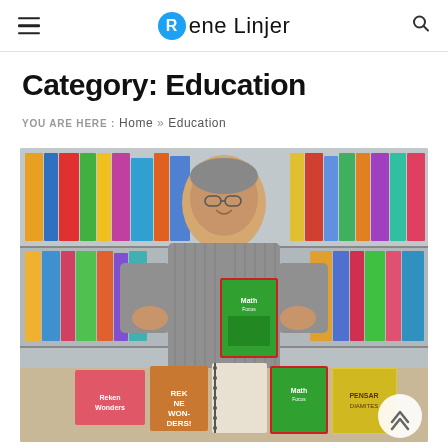Rene Linjer
Category: Education
YOU ARE HERE : Home » Education
[Figure (photo): An older man smiling, standing in front of bookshelves filled with colorful educational books. He is holding a 'Math Focus' textbook. On the table in front of him are several books including 'Math Focus', 'Reken Wonders', 'Pensar Diamantes', and other educational materials.]